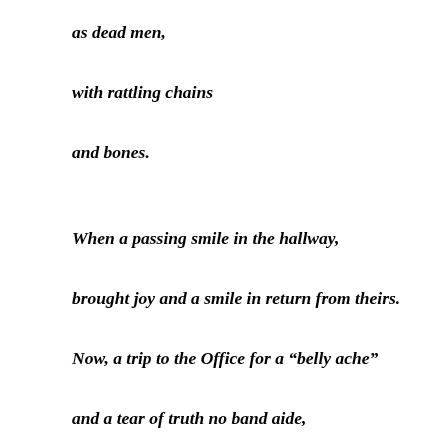as dead men,
with rattling chains
and bones.
When a passing smile in the hallway,
brought joy and a smile in return from theirs.
Now, a trip to the Office for a “belly ache”
and a tear of truth no band aide,